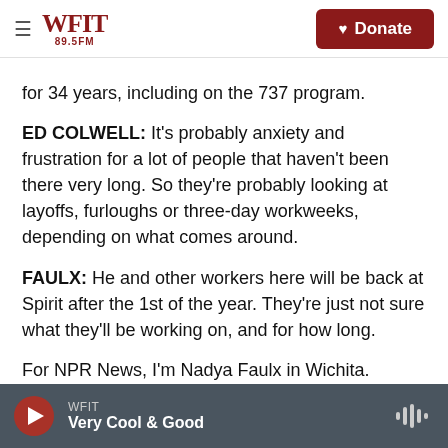WFIT 89.5FM — Donate
for 34 years, including on the 737 program.
ED COLWELL: It's probably anxiety and frustration for a lot of people that haven't been there very long. So they're probably looking at layoffs, furloughs or three-day workweeks, depending on what comes around.
FAULX: He and other workers here will be back at Spirit after the 1st of the year. They're just not sure what they'll be working on, and for how long.
For NPR News, I'm Nadya Faulx in Wichita.
WFIT — Very Cool & Good